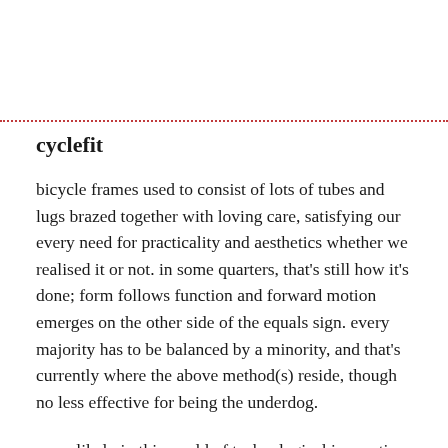cyclefit
bicycle frames used to consist of lots of tubes and lugs brazed together with loving care, satisfying our every need for practicality and aesthetics whether we realised it or not. in some quarters, that's still how it's done; form follows function and forward motion emerges on the other side of the equals sign. every majority has to be balanced by a minority, and that's currently where the above method(s) reside, though no less effective for being the underdog.
more likely in this world of technological innovation and adoration, the frame under the seatpost consists of two halves of burnt plastic, joined together in a far